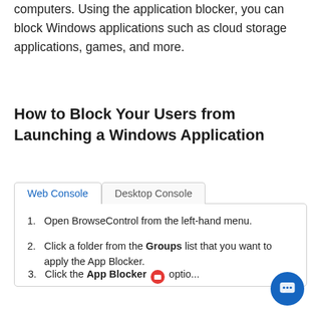computers. Using the application blocker, you can block Windows applications such as cloud storage applications, games, and more.
How to Block Your Users from Launching a Windows Application
Open BrowseControl from the left-hand menu.
Click a folder from the Groups list that you want to apply the App Blocker.
Click the App Blocker option...